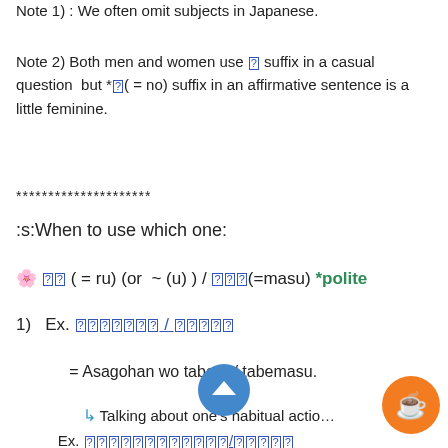Note 1) : We often omit subjects in Japanese.
Note 2) Both men and women use [?] suffix in a casual question  but *[?]( = no) suffix in an affirmative sentence is a little feminine.
*********************
:s:When to use which one:
🌸 [??] ( = ru) (or ~ (u) ) / [???](=masu) *polite
1)  Ex. [朝ご飯を食べる] / [食べます]
= Asagohan wo taberu / tabemasu.
↳ Talking about one's habitual actio...
Ex. [朝ご飯を食べる/食べます]